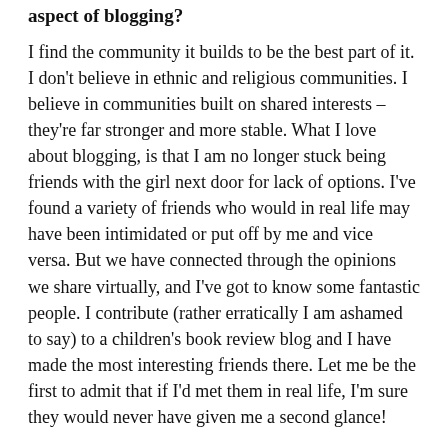aspect of blogging?
I find the community it builds to be the best part of it. I don't believe in ethnic and religious communities. I believe in communities built on shared interests – they're far stronger and more stable. What I love about blogging, is that I am no longer stuck being friends with the girl next door for lack of options. I've found a variety of friends who would in real life may have been intimidated or put off by me and vice versa. But we have connected through the opinions we share virtually, and I've got to know some fantastic people. I contribute (rather erratically I am ashamed to say) to a children's book review blog and I have made the most interesting friends there. Let me be the first to admit that if I'd met them in real life, I'm sure they would never have given me a second glance!
Q: How, in general, would you rate the quality of